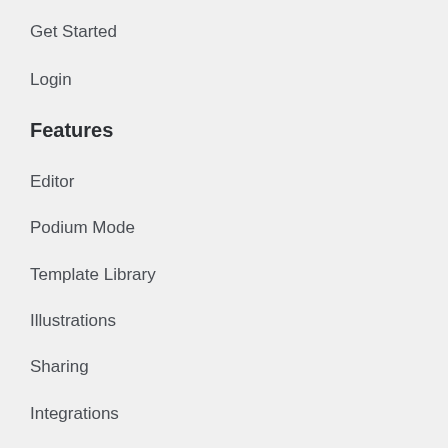Get Started
Login
Features
Editor
Podium Mode
Template Library
Illustrations
Sharing
Integrations